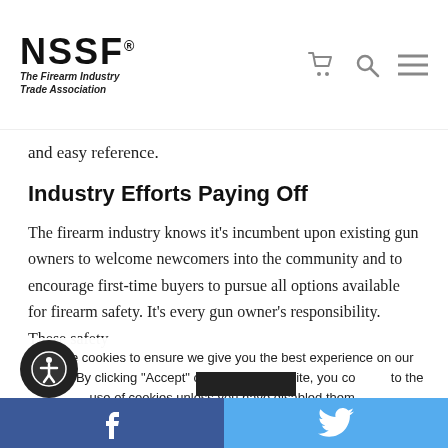NSSF® The Firearm Industry Trade Association
and easy reference.
Industry Efforts Paying Off
The firearm industry knows it's incumbent upon existing gun owners to welcome newcomers into the community and to encourage first-time buyers to pursue all options available for firearm safety. It's every gun owner's responsibility. These safety
We use cookies to ensure we give you the best experience on our website. By clicking "Accept" or using our website, you consent to the use of cookies unless you have disabled them.